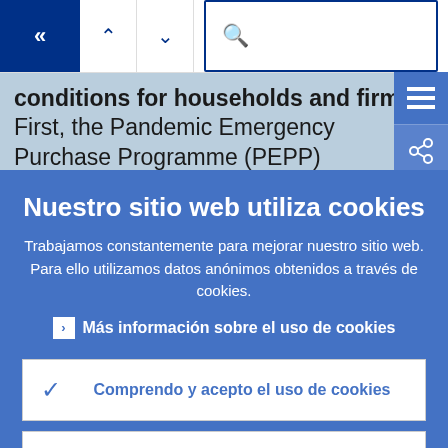[Figure (screenshot): Navigation bar with back button (double left arrows), up/down arrows, and search icon on white background]
conditions for households and firms. First, the Pandemic Emergency Purchase Programme (PEPP) announced in March
[Figure (screenshot): Side icons: hamburger menu and share icon on blue background]
Nuestro sitio web utiliza cookies
Trabajamos constantemente para mejorar nuestro sitio web. Para ello utilizamos datos anónimos obtenidos a través de cookies.
› Más información sobre el uso de cookies
✓ Comprendo y acepto el uso de cookies
✕ No acepto el uso de cookies